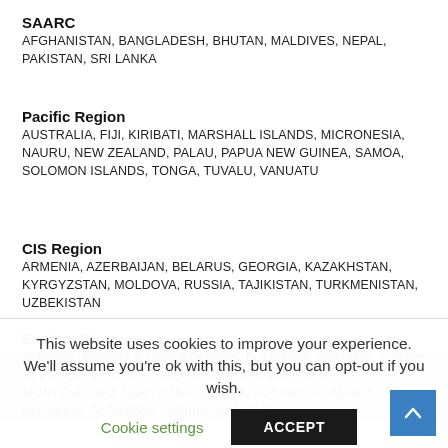SAARC
AFGHANISTAN, BANGLADESH, BHUTAN, MALDIVES, NEPAL, PAKISTAN, SRI LANKA
Pacific Region
AUSTRALIA, FIJI, KIRIBATI, MARSHALL ISLANDS, MICRONESIA, NAURU, NEW ZEALAND, PALAU, PAPUA NEW GUINEA, SAMOA, SOLOMON ISLANDS, TONGA, TUVALU, VANUATU
CIS Region
ARMENIA, AZERBAIJAN, BELARUS, GEORGIA, KAZAKHSTAN, KYRGYZSTAN, MOLDOVA, RUSSIA, TAJIKISTAN, TURKMENISTAN, UZBEKISTAN
Eastern Europe
ALBANIA, BOSNIA & HERZEGOVINA, BULGARIA, CROATIA, CZECH REPUBLIC, ESTONIA, KOSOVO, LATVIA, LITHUANIA, MONTENEGRO, NORTH MACEDONIA, POLAND, ROMANIA, SLOVAKIA, SLOVENIA, SERBIA, UKRAINE
This website uses cookies to improve your experience. We'll assume you're ok with this, but you can opt-out if you wish.